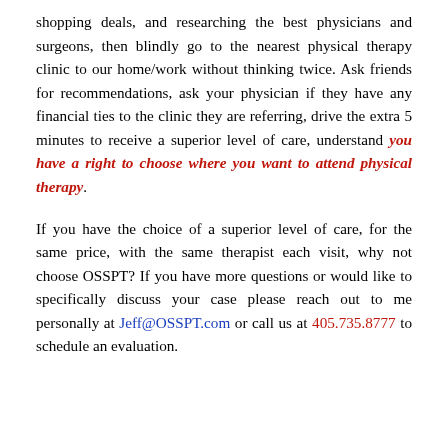shopping deals, and researching the best physicians and surgeons, then blindly go to the nearest physical therapy clinic to our home/work without thinking twice. Ask friends for recommendations, ask your physician if they have any financial ties to the clinic they are referring, drive the extra 5 minutes to receive a superior level of care, understand you have a right to choose where you want to attend physical therapy.
If you have the choice of a superior level of care, for the same price, with the same therapist each visit, why not choose OSSPT? If you have more questions or would like to specifically discuss your case please reach out to me personally at Jeff@OSSPT.com or call us at 405.735.8777 to schedule an evaluation.